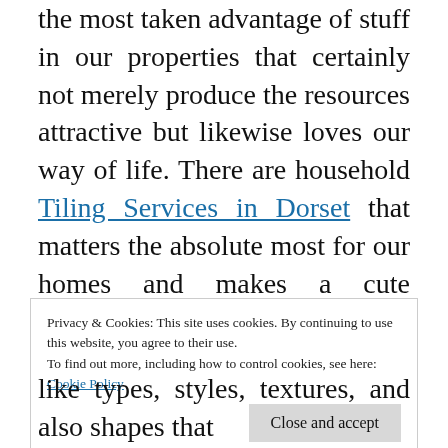the most taken advantage of stuff in our properties that certainly not merely produce the resources attractive but likewise loves our way of life. There are household Tiling Services in Dorset that matters the absolute most for our homes and makes a cute manifestation to make the sights desirable. Every house needs elegancy to post the eye-catchy notches and also a different identification that can distinguish it coming from the other real estates.
Privacy & Cookies: This site uses cookies. By continuing to use this website, you agree to their use.
To find out more, including how to control cookies, see here:
Cookie Policy
Close and accept
like types, styles, textures, and also shapes that